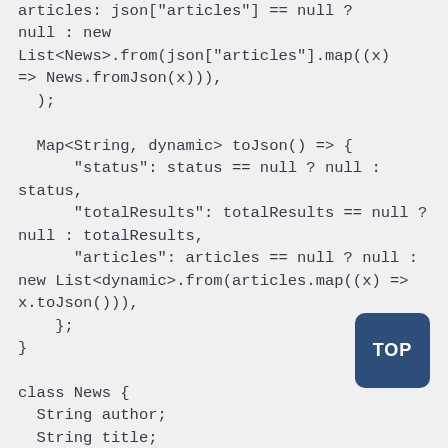articles: json["articles"] == null ?
null : new
List<News>.from(json["articles"].map((x)
=> News.fromJson(x))),
  );

  Map<String, dynamic> toJson() => {
      "status": status == null ? null :
status,
      "totalResults": totalResults == null ?
null : totalResults,
      "articles": articles == null ? null :
new List<dynamic>.from(articles.map((x) =>
x.toJson())),
    };
}

class News {
  String author;
  String title;
  String description;
  String url;